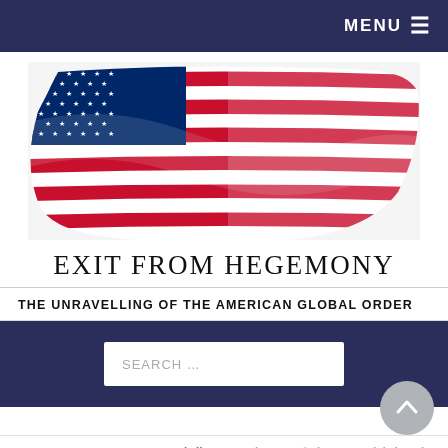MENU ☰
[Figure (photo): American flag draped/waving, close-up showing stars and stripes on white background]
EXIT FROM HEGEMONY
THE UNRAVELLING OF THE AMERICAN GLOBAL ORDER
SEARCH …
Home > News > Great Power Challenges > The Rise of China as a Global Trade Partner